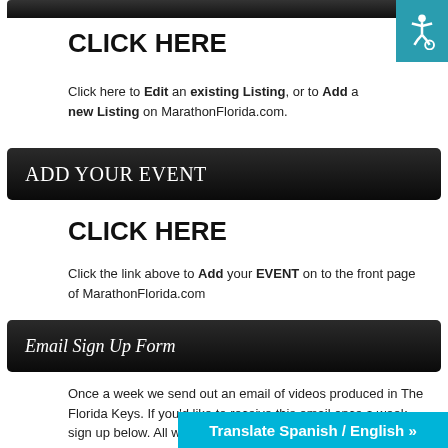CLICK HERE
Click here to Edit an existing Listing, or to Add a new Listing on MarathonFlorida.com.
ADD YOUR EVENT
CLICK HERE
Click the link above to Add your EVENT on to the front page of MarathonFlorida.com
Email Sign Up Form
Once a week we send out an email of videos produced in The Florida Keys. If you'd like to receive this email once a week, sign up below. All we need
Translate Spanish / English »